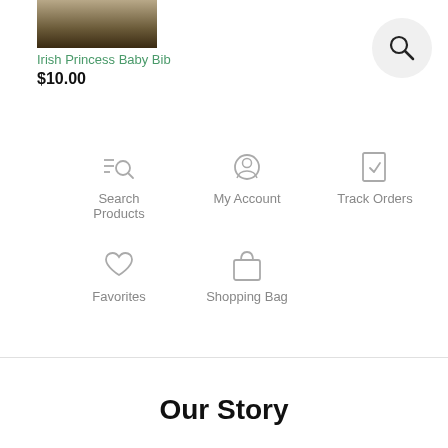[Figure (photo): Partial product image - dark brown/olive toned baby bib photo cropped at top]
Irish Princess Baby Bib
$10.00
[Figure (other): Search icon in circular button - top right corner]
Search Products
My Account
Track Orders
Favorites
Shopping Bag
Our Story